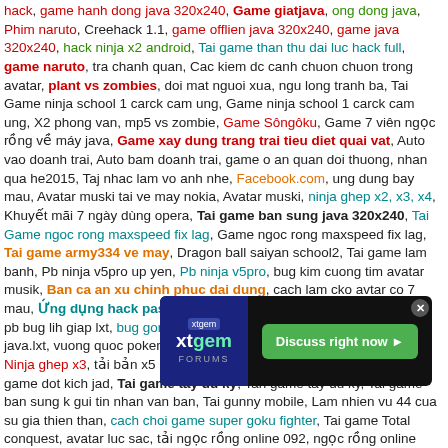hack, game hanh dong java 320x240, Game giatjava, ong dong java, Phim naruto, Creehack 1.1, game offlien java 320x240, game java 320x240, hack ninja x2 android, Tai game than thu dai luc hack full, game naruto, tra chanh quan, Cac kiem dc canh chuon chuon trong avatar, plant vs zombies, doi mat nguoi xua, ngu long tranh ba, Tai Game ninja school 1 carck cam ung, Game ninja school 1 carck cam ung, X2 phong van, mp5 vs zombie, Game Sôngôku, Game 7 viên ngọc rồng về máy java, Game xay dung trang trai tieu diet quai vat, Auto vao doanh trai, Auto bam doanh trai, game o an quan doi thuong, nhan qua he2015, Taj nhac lam vo anh nhe, Facebook.com, ung dung bay mau, Avatar muski tai ve may nokia, Avatar muski, ninja ghep x2, x3, x4, Khuyết mãi 7 ngày dùng opera, Tai game ban sung java 320x240, Tai Game ngoc rong maxspeed fix lag, Game ngoc rong maxspeed fix lag, Tai game army334 ve may, Dragon ball saiyan school2, Tai game lam banh, Pb ninja v5pro up yen, Pb ninja v5pro, bug kim cuong tim avatar musik, Ban ca an xu chinh phuc dai dung, cach lam cko avtar co 7 mau, Ứng dụng hack pass wifi, Tai game army2 220 can goc v5 hp, pb bug lih giap lxt, bug gon langxitin nong trai java., bug gon nong trai java.lxt, vuong quoc pokemon dung luong nho, Ninjaschool ghep x3, Ninja ghep x3, tải bản x5 nso sever world, Meo nhai tiếng ngưòi, tai game dot kich jad, Tai game tay du ky, Tah game tay du ky, Tai game ban sung k gui tin nhan van ban, Tai gunny mobile, Lam nhien vu 44 cua su gia thien than, cach choi game super goku fighter, Tai game Total conquest, avatar luc sac, tải ngọc rồng online 092, ngọc rồng online 092, army3 334 android, Avatar hach xu nhanh nhat, Ninja school2, Sayan shool 2, Game son tinh thuy tinh crack, Tai game ninja 999 v8.8, Tai game ninja 999 v8.5, Kpah hack luong, Game dua xe 3d, nông trại, NgoKhong truyen ky, Ninja school offline java, Ho quan hieu, l k son tung remix, Tai Game Ban ca an xu offline, Taj G..., thu thuat treo de tu ng..., ...334, hack item army3, ...i loi, 8 ma cude cua ngoc rong, thu that lam lag sever game ninja, thủ thuật làm lag sever
[Figure (other): XTGem Forums advertisement banner with green 'Discuss right now' button and close X button]